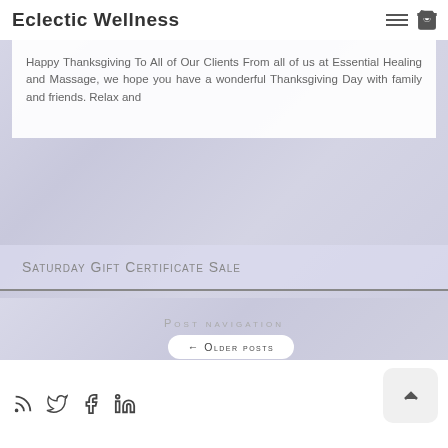Eclectic Wellness
Happy Thanksgiving To All of Our Clients From all of us at Essential Healing and Massage, we hope you have a wonderful Thanksgiving Day with family and friends. Relax and
Saturday Gift Certificate Sale
Post navigation
← Older posts
Social icons: RSS, Twitter, Facebook, LinkedIn